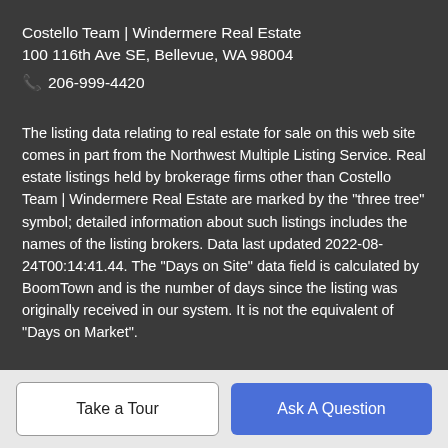Costello Team | Windermere Real Estate
100 116th Ave SE, Bellevue, WA 98004
📞 206-999-4420
The listing data relating to real estate for sale on this web site comes in part from the Northwest Multiple Listing Service. Real estate listings held by brokerage firms other than Costello Team | Windermere Real Estate are marked by the "three tree" symbol; detailed information about such listings includes the names of the listing brokers. Data last updated 2022-08-24T00:14:41.44. The "Days on Site" data field is calculated by BoomTown and is the number of days since the listing was originally received in our system. It is not the equivalent of "Days on Market".
Take a Tour
Ask A Question